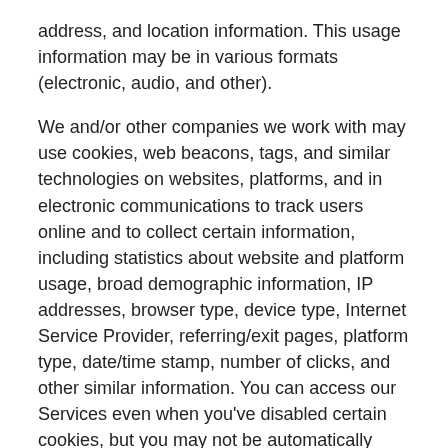address, and location information. This usage information may be in various formats (electronic, audio, and other).
We and/or other companies we work with may use cookies, web beacons, tags, and similar technologies on websites, platforms, and in electronic communications to track users online and to collect certain information, including statistics about website and platform usage, broad demographic information, IP addresses, browser type, device type, Internet Service Provider, referring/exit pages, platform type, date/time stamp, number of clicks, and other similar information. You can access our Services even when you’ve disabled certain cookies, but you may not be automatically recognized upon revisiting. Please visit the “What Choices Do You Have?” section for further information, including about Do Not Track and how to disable cookies.